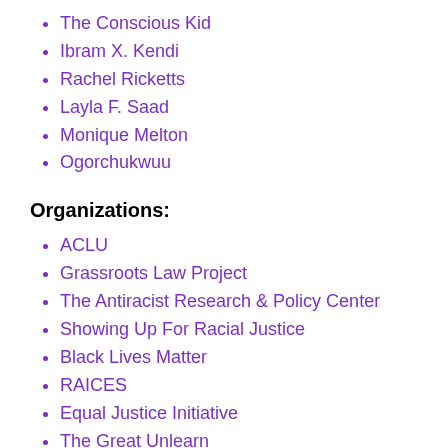The Conscious Kid
Ibram X. Kendi
Rachel Ricketts
Layla F. Saad
Monique Melton
Ogorchukwuu
Organizations:
ACLU
Grassroots Law Project
The Antiracist Research & Policy Center
Showing Up For Racial Justice
Black Lives Matter
RAICES
Equal Justice Initiative
The Great Unlearn
NAACP